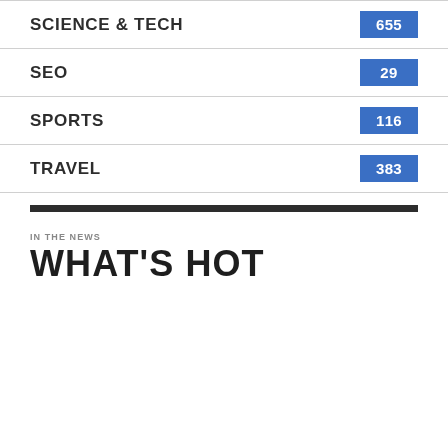SCIENCE & TECH — 655
SEO — 29
SPORTS — 116
TRAVEL — 383
IN THE NEWS
WHAT'S HOT